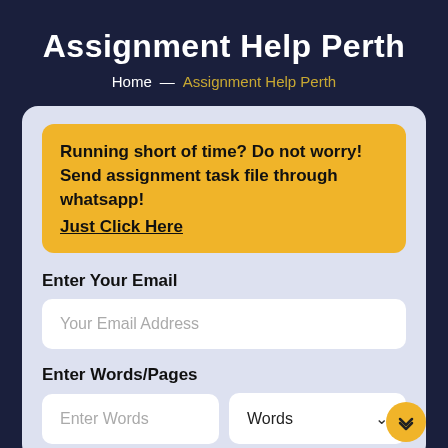Assignment Help Perth
Home — Assignment Help Perth
Running short of time? Do not worry! Send assignment task file through whatsapp!
Just Click Here
Enter Your Email
Your Email Address
Enter Words/Pages
Enter Words
Words